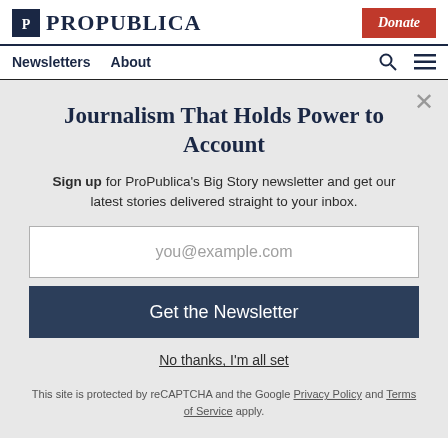ProPublica
Donate
Newsletters  About
Journalism That Holds Power to Account
Sign up for ProPublica's Big Story newsletter and get our latest stories delivered straight to your inbox.
you@example.com
Get the Newsletter
No thanks, I'm all set
This site is protected by reCAPTCHA and the Google Privacy Policy and Terms of Service apply.